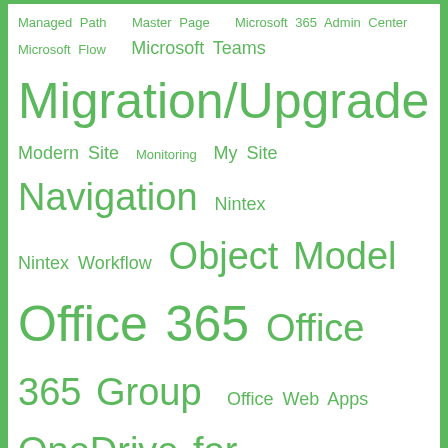[Figure (infographic): Tag cloud with SharePoint-related terms in various green font sizes on white background. Terms include: Managed Path, Master Page, Microsoft 365 Admin Center, Microsoft Flow, Microsoft Teams, Migration/Upgrade, Modern Site, Monitoring, My Site, Navigation, Nintex, Nintex Workflow, Object Model, Office 365, Office 365 Group, Office Web Apps, OneDrive for Business, Page, Page Layouts, Patching, PDF, People Picker, Performance Optimization, Permission, Permission Report, PnP PowerShell, PnP, Provisioning, PowerShell, Presentations, Product Review, Quick Launch, Quotas and Locks, Recycle Bin, Reference, REST, Ribbon, Sandboxed solutions, Search, Security, Service Application, Service Packs]